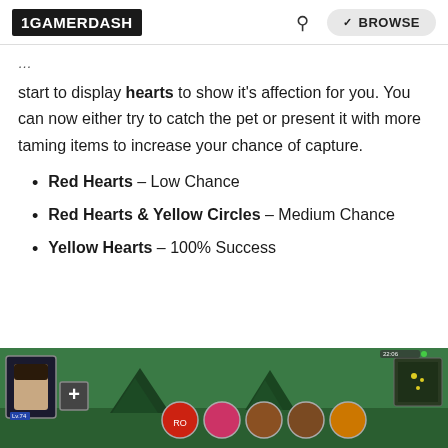1GAMERDASH | Search | BROWSE
start to display hearts to show it's affection for you. You can now either try to catch the pet or present it with more taming items to increase your chance of capture.
Red Hearts – Low Chance
Red Hearts & Yellow Circles – Medium Chance
Yellow Hearts – 100% Success
[Figure (screenshot): Game screenshot showing HUD interface with character avatar, inventory icons, and minimap on a green game world background]